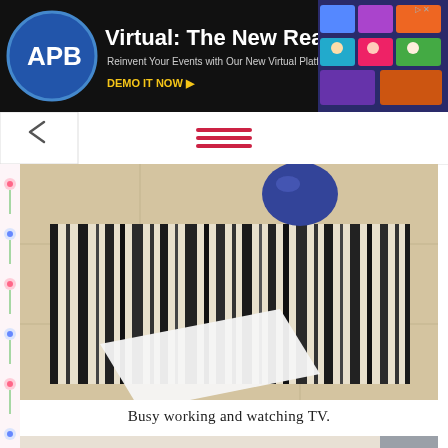[Figure (screenshot): APB advertisement banner: Virtual: The New Reality - Reinvent Your Events with Our New Virtual Platform. DEMO IT NOW. Dark background with APB logo on left and colorful event graphics on right.]
[Figure (screenshot): Website navigation bar with back arrow button on left and hamburger menu icon (three horizontal pink/red lines) in center.]
[Figure (photo): Close-up photo of a black and white striped rug on a beige tile floor with craft materials including white foam board.]
Busy working and watching TV.
[Figure (photo): Photo with Craftibilities.com watermark showing white foam shapes (likely slipper shapes) on a tile floor near a baseboard.]